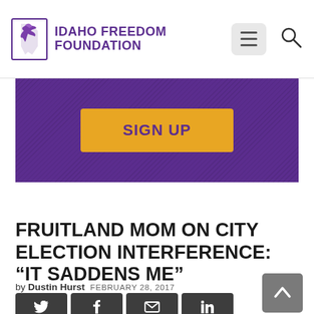Idaho Freedom Foundation
[Figure (screenshot): Purple banner with yellow SIGN UP button]
FRUITLAND MOM ON CITY ELECTION INTERFERENCE: “IT SADDENS ME”
by Dustin Hurst FEBRUARY 28, 2017
[Figure (other): Social sharing buttons: Twitter, Facebook, Email, LinkedIn]